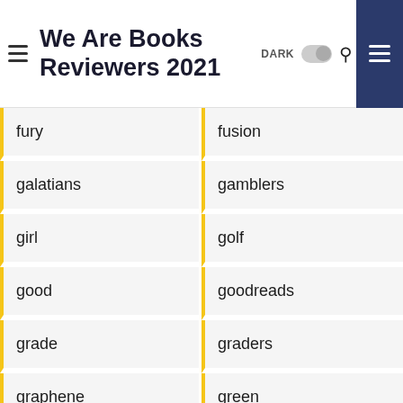We Are Books Reviewers 2021
fury
fusion
galatians
gamblers
girl
golf
good
goodreads
grade
graders
graphene
green
guitar
half
harlan
harry